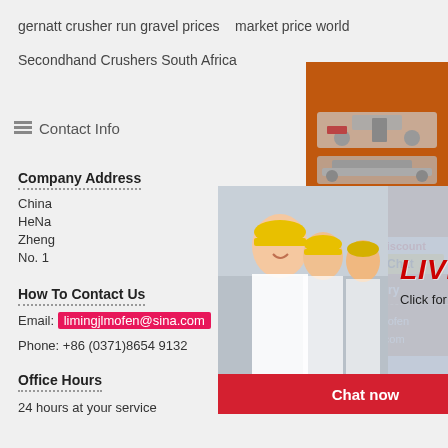gernatt crusher run gravel prices   market price world
Secondhand Crushers South Africa
Contact Info
Company Address
China
HeNa
Zheng
No. 1
How To Contact Us
Email: limingjlmofen@sina.com
Phone: +86 (0371)8654 9132
Office Hours
24 hours at your service
[Figure (screenshot): Live chat popup overlay with photo of workers in hard hats. Text: LIVE CHAT, Click for a Free Consultation. Buttons: Chat now, Chat later.]
[Figure (infographic): Orange sidebar advertisement with crusher machinery images, Enjoy 3% discount, Click to Chat, Enquiry, limingjlmofen@sina.com]